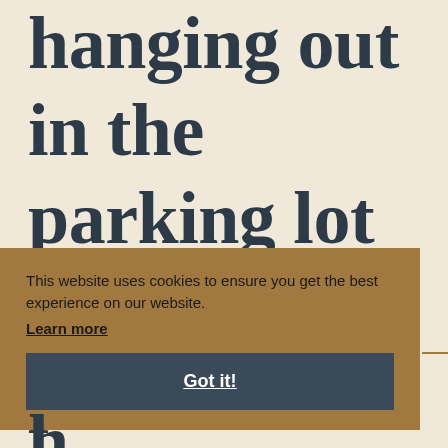hanging out in the parking lot until the power came on.
This website uses cookies to ensure you get the best experience on our website.
Learn more
Got it!
h... Th...